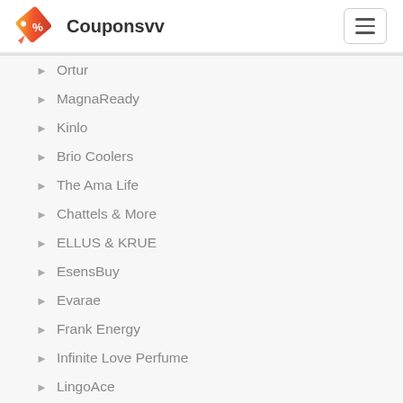Couponsvv
Ortur
MagnaReady
Kinlo
Brio Coolers
The Ama Life
Chattels & More
ELLUS & KRUE
EsensBuy
Evarae
Frank Energy
Infinite Love Perfume
LingoAce
Mango Life
Rstyles Clothier
Refresh